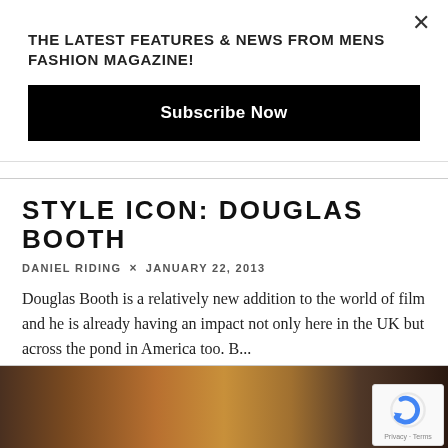THE LATEST FEATURES & NEWS FROM MENS FASHION MAGAZINE!
Subscribe Now
STYLE ICON: DOUGLAS BOOTH
DANIEL RIDING × JANUARY 22, 2013
Douglas Booth is a relatively new addition to the world of film and he is already having an impact not only here in the UK but across the pond in America too. B...
0 COMMENTS
0
[Figure (photo): Partial photo showing a brown dog and a person, bottom section of the page. reCAPTCHA badge visible in bottom right corner with 'Privacy · Terms' text.]